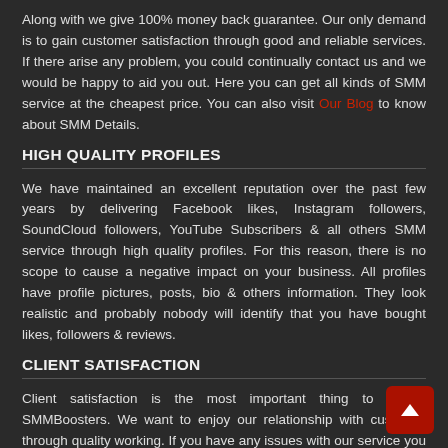Along with we give 100% money back guarantee. Our only demand is to gain customer satisfaction through good and reliable services. If there arise any problem, you could continually contact us and we would be happy to aid you out. Here you can get all kinds of SMM service at the cheapest price. You can also visit Our Blog to know about SMM Details.
HIGH QUALITY PROFILES
We have maintained an excellent reputation over the past few years by delivering Facebook likes, Instagram followers, SoundCloud followers, YouTube Subscribers & all others SMM service through high quality profiles. For this reason, there is no scope to cause a negative impact on your business. All profiles have profile pictures, posts, bio & others information. They look realistic and probably nobody will identify that you have bought likes, followers & reviews.
CLIENT SATISFACTION
Client satisfaction is the most important thing to us at SMMBoosters. We want to enjoy our relationship with customer through quality working. If you have any issues with our service you can contact us without any type of hesitation.